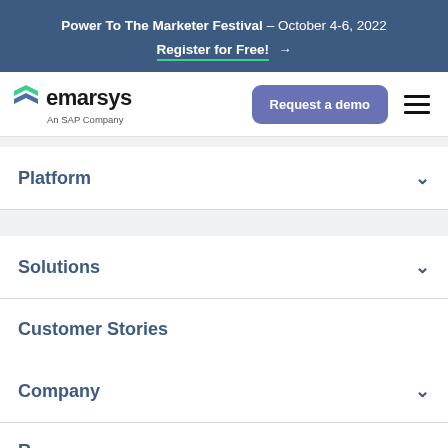Power To The Marketer Festival – October 4-6, 2022
Register for Free! →
[Figure (logo): Emarsys logo with green and blue chevron/arrow mark, text 'emarsys An SAP Company']
Request a demo
Platform
Solutions
Customer Stories
Company
R...